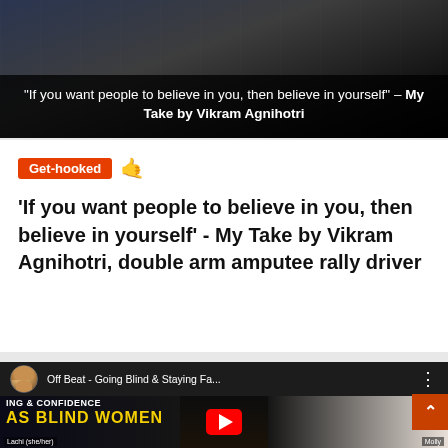[Figure (screenshot): Dark banner image with white overlay text: 'If you want people to believe in you, then believe in yourself' – My Take by Vikram Agnihotri]
Get-hooked 🤙
'If you want people to believe in you, then believe in yourself' - My Take by Vikram Agnihotri, double arm amputee rally driver
[Figure (screenshot): YouTube video thumbnail for 'Off Beat - Going Blind & Staying Fa...' showing two women (Lachi she/her and Molly) with bold text 'AS BLIND WOMEN' in yellow and 'WITH MOLLY BURKE' at the bottom. YouTube play button overlay in center.]